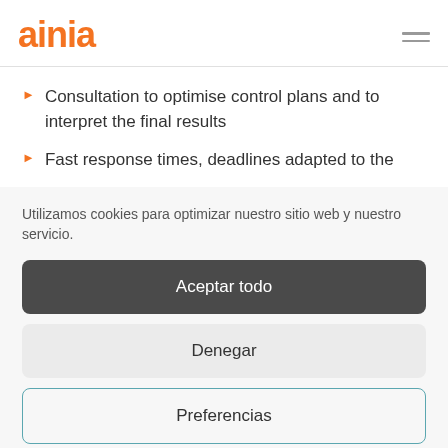ainia
Consultation to optimise control plans and to interpret the final results
Fast response times, deadlines adapted to the
Utilizamos cookies para optimizar nuestro sitio web y nuestro servicio.
Aceptar todo
Denegar
Preferencias
Cookies Policy   Privacy policy   Legal notice